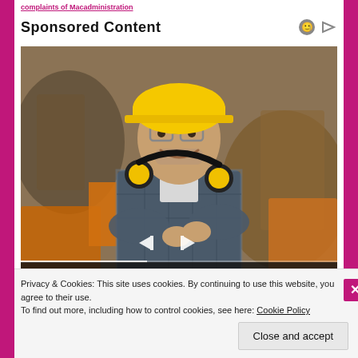complaints of Macadministration
Sponsored Content
[Figure (photo): A smiling male construction worker wearing a yellow hard hat, plaid shirt, safety glasses, and yellow ear protection hanging around his neck, standing with arms crossed in an industrial setting. Video player controls visible at bottom. Caption overlay reads 'george mason university Mason Jobs in']
Privacy & Cookies: This site uses cookies. By continuing to use this website, you agree to their use.
To find out more, including how to control cookies, see here: Cookie Policy
Close and accept